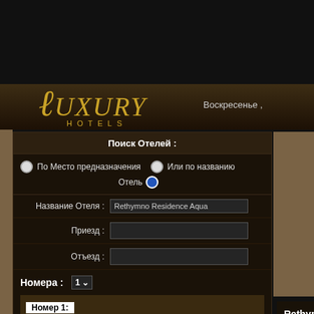[Figure (logo): Luxury Hotels logo with cursive L and gold text]
Воскресенье ,
Поиск Отелей :
По Место предназначения  Или по названию
Отель
Название Отеля : Rethymno Residence Aqua
Приезд :
Отъезд :
Номера : 1
Номер 1:
Взрослые : 1   Дети : 0
Поиск
Rethymno Residence Aqua H
Europe / Греция / Крит / Ретимно /
Категория:
Тип: Hotel Apartments
Адрес : Adelianos Kambos Po.Box Rethymno, Crete,Greece
Удобства:
Имущество:
Open:May-October...  Rethymno H four (4) stars complex fully renovate